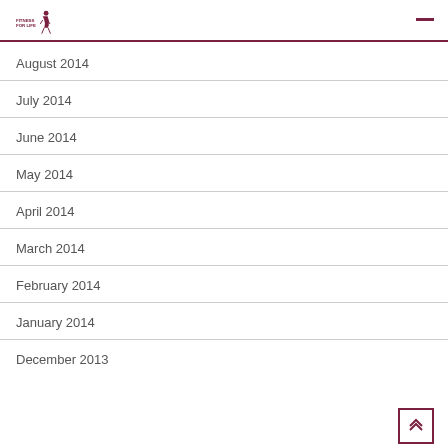FITNESS FOR LIFE
August 2014
July 2014
June 2014
May 2014
April 2014
March 2014
February 2014
January 2014
December 2013